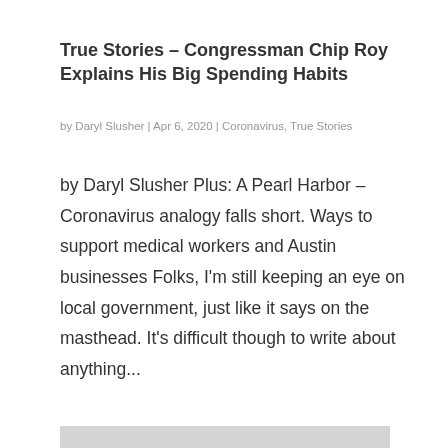True Stories – Congressman Chip Roy Explains His Big Spending Habits
by Daryl Slusher | Apr 6, 2020 | Coronavirus, True Stories
by Daryl Slusher Plus: A Pearl Harbor – Coronavirus analogy falls short. Ways to support medical workers and Austin businesses Folks, I'm still keeping an eye on local government, just like it says on the masthead. It's difficult though to write about anything...